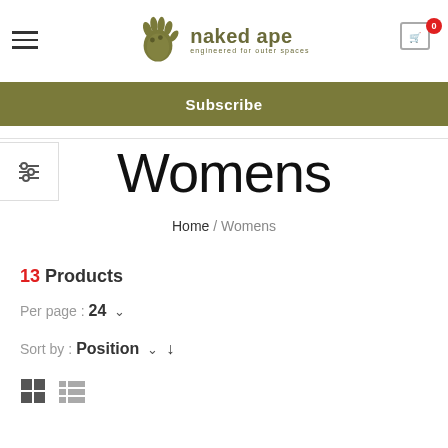naked ape — engineered for outer spaces — navigation and cart
Subscribe
Womens
Home / Womens
13 Products
Per page : 24
Sort by : Position
Grid / List view toggle